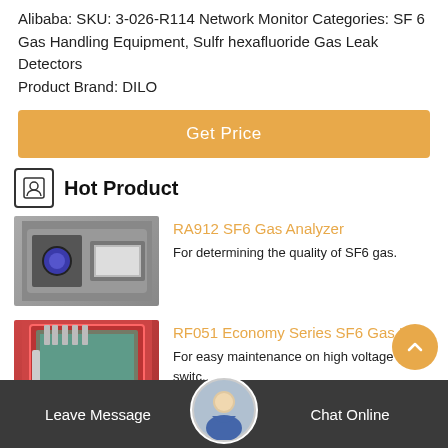Alibaba: SKU: 3-026-R114 Network Monitor Categories: SF 6 Gas Handling Equipment, Sulfr hexafluoride Gas Leak Detectors Product Brand: DILO
Get Price
Hot Product
RA912 SF6 Gas Analyzer
For determining the quality of SF6 gas.
RF051 Economy Series SF6 Gas Ha...
For easy maintenance on high voltage switc...
Leave Message   Chat Online